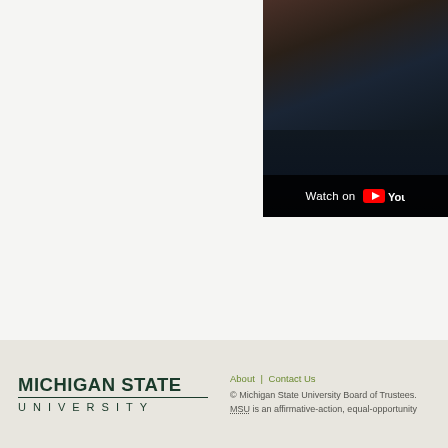[Figure (screenshot): YouTube video thumbnail showing a dark, blurred indoor scene with a 'Watch on YouTube' overlay bar at the bottom containing the YouTube play button icon and text]
[Figure (logo): Michigan State University logo with bold text 'MICHIGAN STATE' above a horizontal rule and 'UNIVERSITY' in spaced letters below]
About | Contact Us © Michigan State University Board of Trustees. MSU is an affirmative-action, equal-opportunity